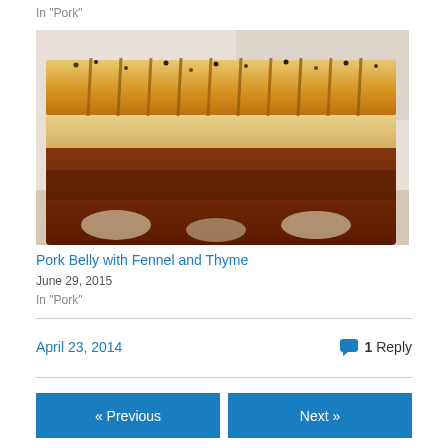In "Pork"
[Figure (photo): Close-up photo of a roasted pork belly with scored crispy skin, showing layers of fat and meat, with herbs and seasoning visible on top.]
Pork Belly with Fennel and Thyme
June 29, 2015
In "Pork"
April 23, 2014
1 Reply
« Previous
Next »